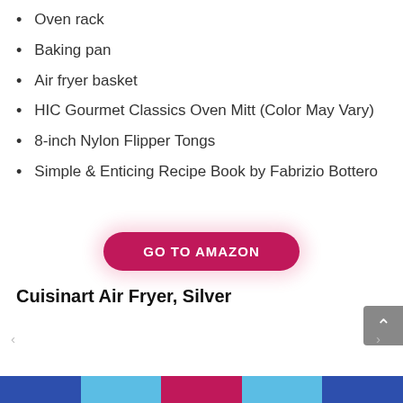Oven rack
Baking pan
Air fryer basket
HIC Gourmet Classics Oven Mitt (Color May Vary)
8-inch Nylon Flipper Tongs
Simple & Enticing Recipe Book by Fabrizio Bottero
[Figure (other): GO TO AMAZON button - a rounded pill-shaped button in crimson/magenta color with white bold text]
Cuisinart Air Fryer, Silver
[Figure (photo): Product image of Cuisinart Air Fryer Silver, partially visible at bottom, with a green -25% discount badge on the left side]